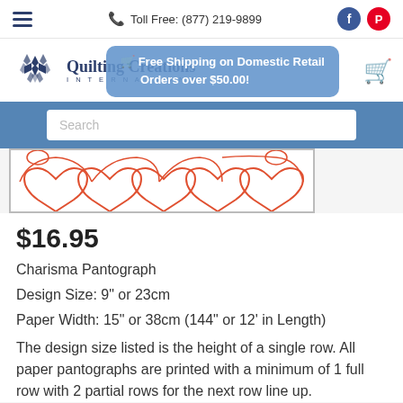Toll Free: (877) 219-9899
[Figure (logo): Quilting Creations International logo with geometric quilt pattern icon in dark blue]
Free Shipping on Domestic Retail Orders over $50.00!
[Figure (screenshot): Product pantograph design image showing looping heart/swirl quilt pattern in orange on white background]
$16.95
Charisma Pantograph
Design Size: 9" or 23cm
Paper Width: 15" or 38cm (144" or 12' in Length)
The design size listed is the height of a single row. All paper pantographs are printed with a minimum of 1 full row with 2 partial rows for the next row line up.